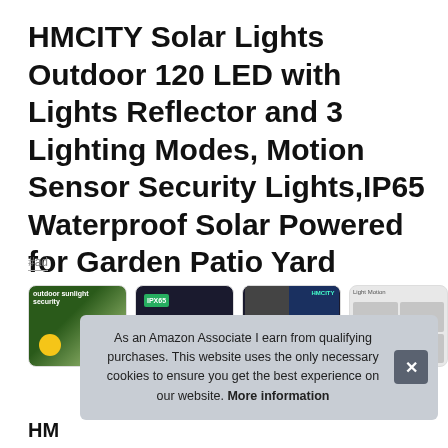HMCITY Solar Lights Outdoor 120 LED with Lights Reflector and 3 Lighting Modes, Motion Sensor Security Lights,IP65 Waterproof Solar Powered for Garden Patio Yard 2Pack
#ad
[Figure (screenshot): Four product thumbnail images of HMCITY solar lights showing the product from different angles and highlighting features like IPX65 waterproofing and motion sensor.]
As an Amazon Associate I earn from qualifying purchases. This website uses the only necessary cookies to ensure you get the best experience on our website. More information
HM